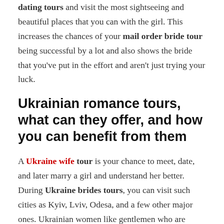dating tours and visit the most sightseeing and beautiful places that you can with the girl. This increases the chances of your mail order bride tour being successful by a lot and also shows the bride that you've put in the effort and aren't just trying your luck.
Ukrainian romance tours, what can they offer, and how you can benefit from them
A Ukraine wife tour is your chance to meet, date, and later marry a girl and understand her better. During Ukraine brides tours, you can visit such cities as Kyiv, Lviv, Odesa, and a few other major ones. Ukrainian women like gentlemen who are attentive and can listen closely to